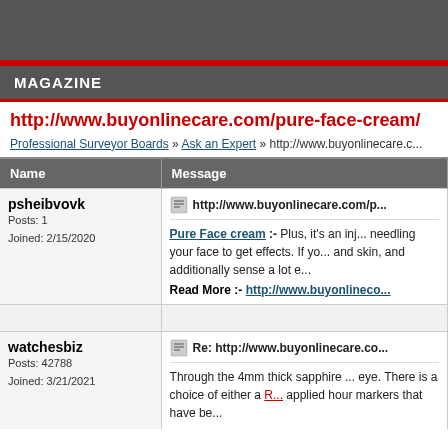MAGAZINE
http://www.buyonlinecare.com/pure-face-cream/
Professional Surveyor Boards » Ask an Expert » http://www.buyonlinecare.c...
| Name | Message |
| --- | --- |
| psheibvovk
Posts: 1
Joined: 2/15/2020 | http://www.buyonlinecare.com/p...
Pure Face cream :- Plus, it's an inj... needling your face to get effects. If yo... and skin, and additionally sense a lot e...
Read More :- http://www.buyonlineco... |
| watchesbiz
Posts: 42788
Joined: 3/21/2021 | Re: http://www.buyonlinecare.co...
Through the 4mm thick sapphire ... eye. There is a choice of either a R... applied hour markers that have be... |